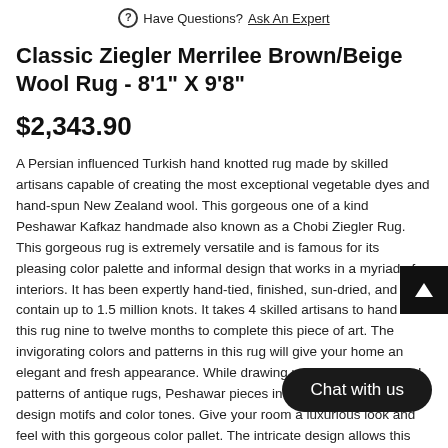Have Questions? Ask An Expert
Classic Ziegler Merrilee Brown/Beige Wool Rug - 8'1" X 9'8"
$2,343.90
A Persian influenced Turkish hand knotted rug made by skilled artisans capable of creating the most exceptional vegetable dyes and hand-spun New Zealand wool. This gorgeous one of a kind Peshawar Kafkaz handmade also known as a Chobi Ziegler Rug. This gorgeous rug is extremely versatile and is famous for its pleasing color palette and informal design that works in a myriad of interiors. It has been expertly hand-tied, finished, sun-dried, and can contain up to 1.5 million knots. It takes 4 skilled artisans to hand knot this rug nine to twelve months to complete this piece of art. The invigorating colors and patterns in this rug will give your home an elegant and fresh appearance. While drawing upon the coloring and patterns of antique ru... Peshawar pieces incorporate modern design moti... lor tones. Give your room a luxurious look and feel with ... gorgeous color pallet. The intricate design allows this oriental rug to create a